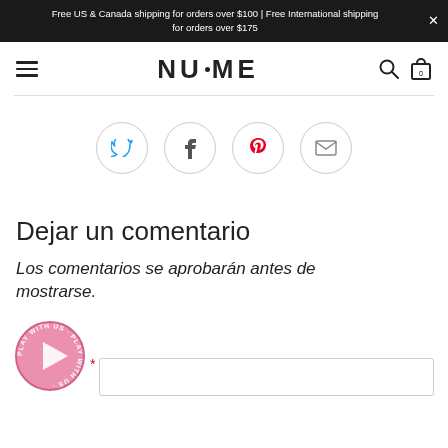Free US & Canada shipping for orders over $100 | Free International shipping for orders over $175
[Figure (logo): NuMe brand logo with hamburger menu, search icon, and shopping bag icon in navigation bar]
[Figure (infographic): Social sharing icons: Twitter (blue bird), Facebook (f), Pinterest (red p), and email envelope, each in a circle outline]
Dejar un comentario
Los comentarios se aprobarán antes de mostrarse.
[Figure (illustration): Pink circular play button badge with 'PLAY WITH US' text around it]
*